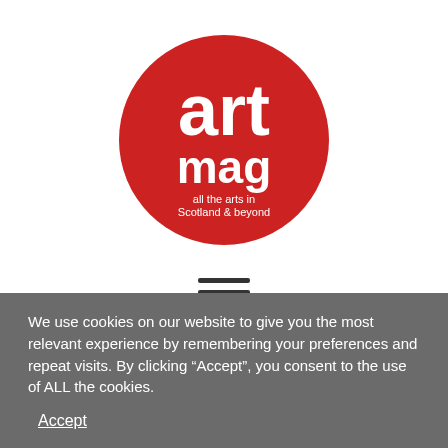[Figure (logo): artmag logo — red circle with white text 'art' large and 'mag' below, tagline 'all the arts in Scotland & beyond']
[Figure (other): Hamburger menu icon — three horizontal dark lines]
[Figure (other): Search icon — magnifying glass]
Visual Arts News
We use cookies on our website to give you the most relevant experience by remembering your preferences and repeat visits. By clicking “Accept”, you consent to the use of ALL the cookies.
Accept